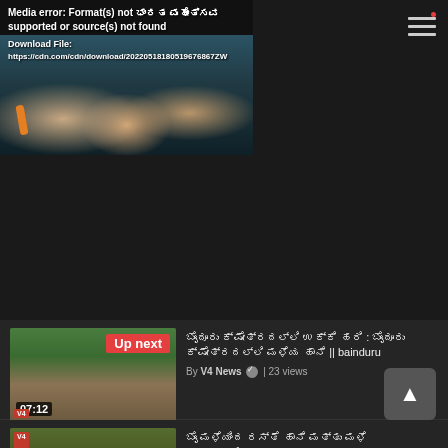[Figure (screenshot): Video player showing media error overlay with Kannada text and men standing at a temple/event location. Error message: 'Media error: Format(s) not supported or source(s) not found. Download File: https://cdn.com/cdn/download/20220518180519676867ZW']
[Figure (screenshot): Hamburger menu icon with red notification dot in top right corner]
[Figure (screenshot): Up next video thumbnail showing flood scene - duration 07:12. Video title in Kannada followed by '|| bainduru'. By V4 News | 23 views]
[Figure (screenshot): Second video thumbnail showing road/nature scene - duration 01:23. Video title in Kannada followed by '|| bainduru'. By V4 News | 2 views]
ಭಾರತ ಮಹೋತ್ಸವ
Media error: Format(s) not supported or source(s) not found
Download File: https://cdn.com/cdn/download/20220518180519676867ZW
Up next
07:12
ಬೈಂದೂರು ಕ್ಷೇತ್ರದಲ್ಲಿ ಉಕ್ಕಿ ಹರಿ : ಬೈಂದೂರು ಕ್ಷೇತ್ರದಲ್ಲಿ ಮಳೆಯ ಹಾನಿ || bainduru
By V4 News ✓ | 23 views
01:23
ಬೈಂ ಮಳೆಯಿಂದ ರಸ್ತೆ ಹಾನಿ ಮತ್ತು ಮಳೆ ಅನಾಹುತಗಳು || bainduru
By V4 News ✓ | 2 views